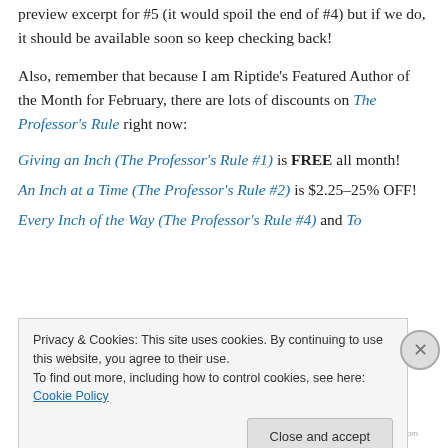preview excerpt for #5 (it would spoil the end of #4) but if we do, it should be available soon so keep checking back!
Also, remember that because I am Riptide’s Featured Author of the Month for February, there are lots of discounts on The Professor’s Rule right now:
Giving an Inch (The Professor’s Rule #1) is FREE all month!
An Inch at a Time (The Professor’s Rule #2) is $2.25–25% OFF!
Every Inch of the Way (The Professor’s Rule #4) and To
Privacy & Cookies: This site uses cookies. By continuing to use this website, you agree to their use.
To find out more, including how to control cookies, see here: Cookie Policy
Close and accept